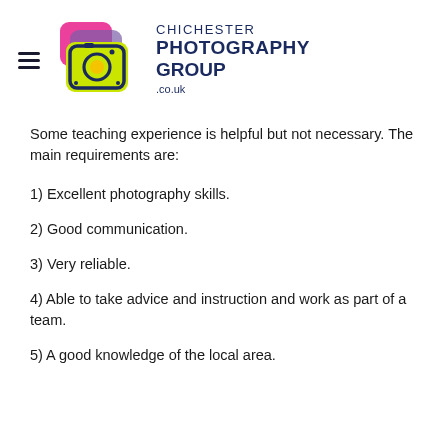Chichester Photography Group .co.uk
Some teaching experience is helpful but not necessary. The main requirements are:
1) Excellent photography skills.
2) Good communication.
3) Very reliable.
4) Able to take advice and instruction and work as part of a team.
5) A good knowledge of the local area.